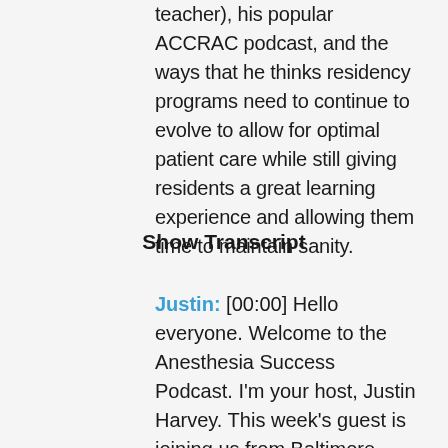teacher), his popular ACCRAC podcast, and the ways that he thinks residency programs need to continue to evolve to allow for optimal patient care while still giving residents a great learning experience and allowing them time to maintain sanity.
Show Transcript
Justin: [00:00] Hello everyone. Welcome to the Anesthesia Success Podcast. I'm your host, Justin Harvey. This week's guest is joining us from Baltimore, Maryland is Dr Jed Wolpaw. Jed Is an assistant professor of anesthesiology and critical care at the Johns Hopkins